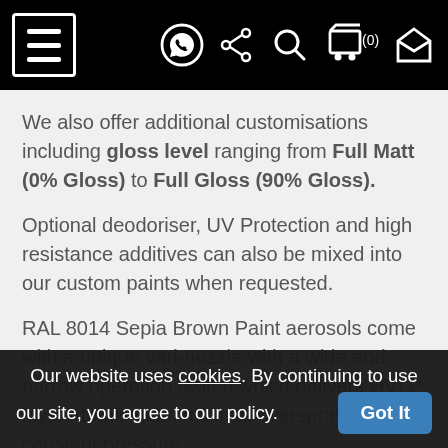[Navigation bar with hamburger menu, WhatsApp, share, search, cart (0), and envelope icons]
We also offer additional customisations including gloss level ranging from Full Matt (0% Gloss) to Full Gloss (90% Gloss).
Optional deodoriser, UV Protection and high resistance additives can also be mixed into our custom paints when requested.
RAL 8014 Sepia Brown Paint aerosols come with a unique vari-nozzle with a wide and narrow operation switch which delivers HVLP style Atomisation, minimal overspray and constant pressure.
Please note 2K paints are only avilabe...
Our website uses cookies. By continuing to use our site, you agree to our policy. Got It